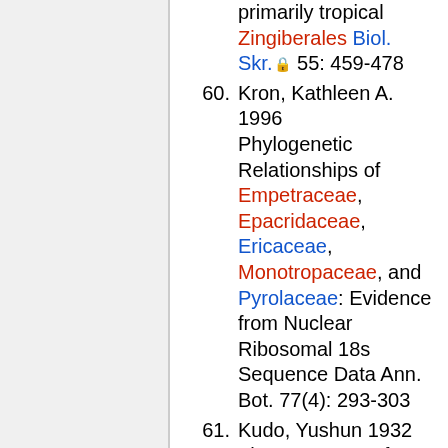(continuation) primarily tropical Zingiberales Biol. Skr. 55: 459-478
60. Kron, Kathleen A. 1996 Phylogenetic Relationships of Empetraceae, Epacridaceae, Ericaceae, Monotropaceae, and Pyrolaceae: Evidence from Nuclear Ribosomal 18s Sequence Data Ann. Bot. 77(4): 293-303
61. Kudo, Yushun 1932 The Mangrove of